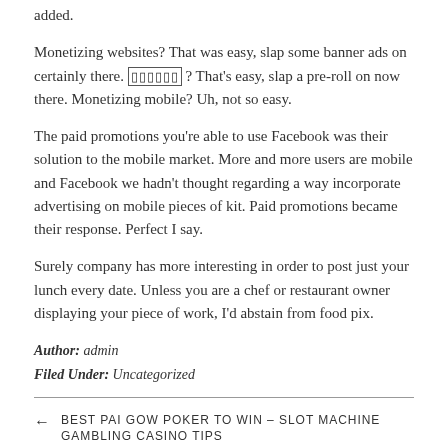added.
Monetizing websites? That was easy, slap some banner ads on certainly there. [boxed text] ? That's easy, slap a pre-roll on now there. Monetizing mobile? Uh, not so easy.
The paid promotions you're able to use Facebook was their solution to the mobile market. More and more users are mobile and Facebook we hadn't thought regarding a way incorporate advertising on mobile pieces of kit. Paid promotions became their response. Perfect I say.
Surely company has more interesting in order to post just your lunch every date. Unless you are a chef or restaurant owner displaying your piece of work, I'd abstain from food pix.
Author: admin
Filed Under: Uncategorized
← BEST PAI GOW POKER TO WIN – SLOT MACHINE GAMBLING CASINO TIPS
2 UNDERRATED LAS VEGAS ALTERNATIVES TO CLUBS →